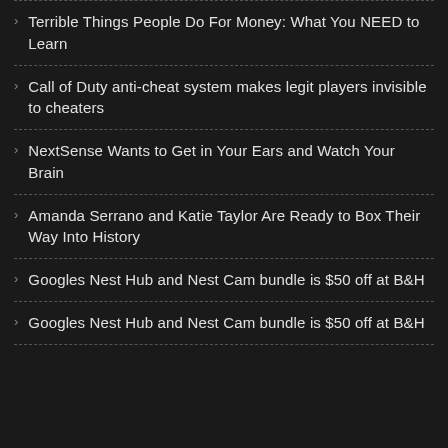Terrible Things People Do For Money: What You NEED to Learn
Call of Duty anti-cheat system makes legit players invisible to cheaters
NextSense Wants to Get in Your Ears and Watch Your Brain
Amanda Serrano and Katie Taylor Are Ready to Box Their Way Into History
Googles Nest Hub and Nest Cam bundle is $50 off at B&H
Googles Nest Hub and Nest Cam bundle is $50 off at B&H